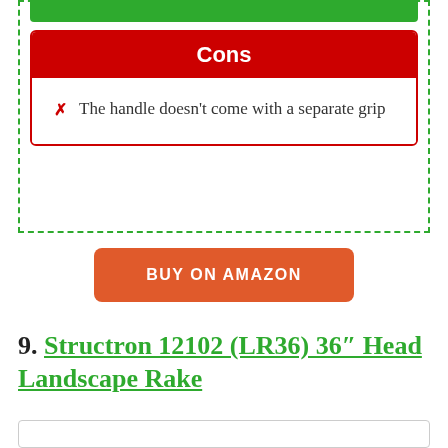Cons
The handle doesn't come with a separate grip
BUY ON AMAZON
9. Structron 12102 (LR36) 36″ Head Landscape Rake